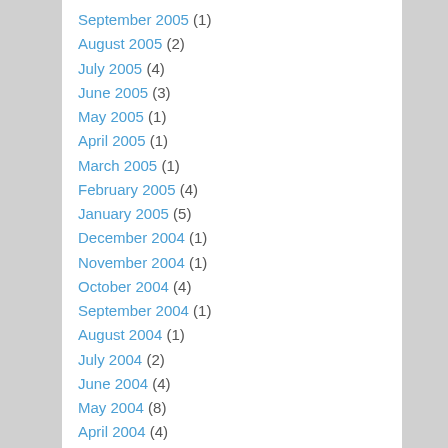September 2005 (1)
August 2005 (2)
July 2005 (4)
June 2005 (3)
May 2005 (1)
April 2005 (1)
March 2005 (1)
February 2005 (4)
January 2005 (5)
December 2004 (1)
November 2004 (1)
October 2004 (4)
September 2004 (1)
August 2004 (1)
July 2004 (2)
June 2004 (4)
May 2004 (8)
April 2004 (4)
March 2004 (1)
February 2004 (3)
January 2004 (1)